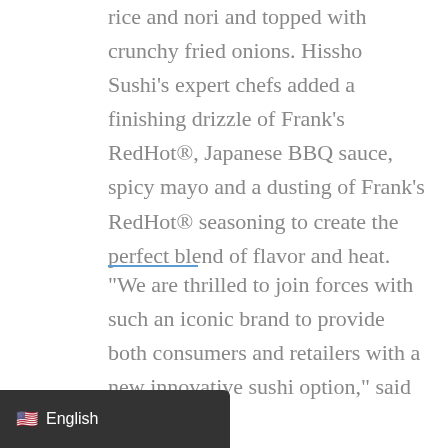rice and nori and topped with crunchy fried onions. Hissho Sushi's expert chefs added a finishing drizzle of Frank's RedHot®, Japanese BBQ sauce, spicy mayo and a dusting of Frank's RedHot® seasoning to create the perfect blend of flavor and heat.
“We are thrilled to join forces with such an iconic brand to provide both consumers and retailers with a new innovative sushi option,” said Dan